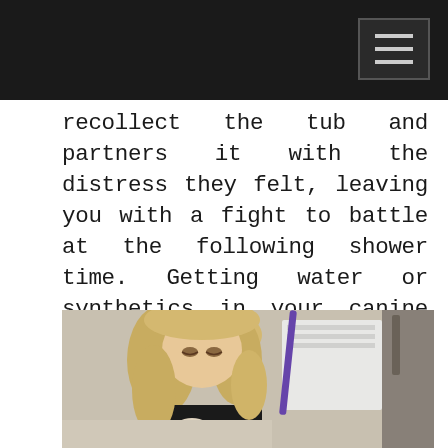recollect the tub and partners it with the distress they felt, leaving you with a fight to battle at the following shower time. Getting water or synthetics in your canine or felines ears can cause an ear disease which could mean superfluous vet treatment costs. It very well might be savvy to stand by a couple of days to perceive how your pet demonstrations before you call the vet.
[Figure (photo): A blonde woman grooming a dog in a pet grooming salon, with a purple grooming tool/scissors visible and white appliances in the background.]